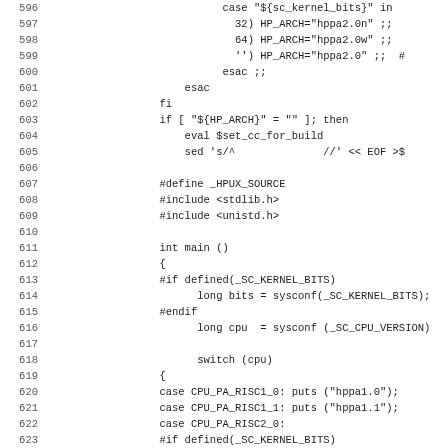Source code listing, lines 596-627, shell script and C code for HP-UX architecture detection